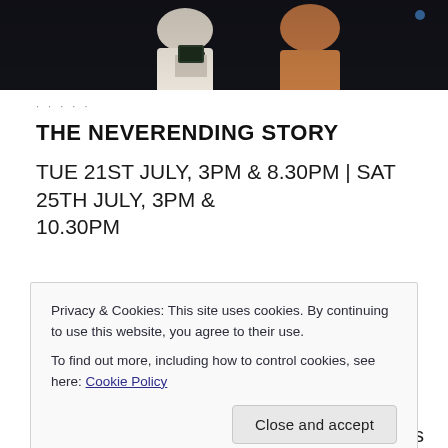[Figure (photo): Dark-toned photo showing two people, one holding a device, cropped at top of page]
· · · · ·
THE NEVERENDING STORY
TUE 21ST JULY, 3PM & 8.30PM | SAT 25TH JULY, 3PM & 10.30PM
Privacy & Cookies: This site uses cookies. By continuing to use this website, you agree to their use.
To find out more, including how to control cookies, see here: Cookie Policy
[Close and accept button]
he makes. Bastian loses a memory from his real life